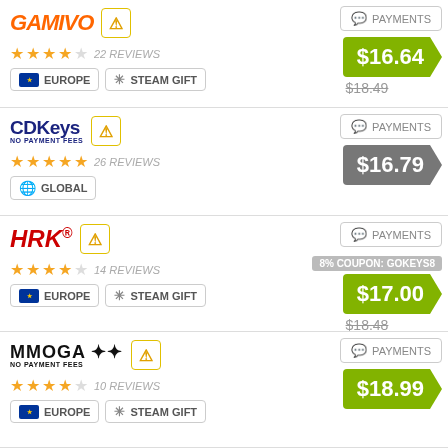[Figure (screenshot): Gamivo seller listing with $16.64 price, 22 reviews, Europe region, Steam Gift tag]
[Figure (screenshot): CDKeys seller listing with $16.79 price, 26 reviews, Global region]
[Figure (screenshot): HRK seller listing with $17.00 price, 8% COUPON: GOKEYS8, 14 reviews, Europe region, Steam Gift tag]
[Figure (screenshot): MMOGA seller listing with $18.99 price, 10 reviews, Europe region, Steam Gift tag]